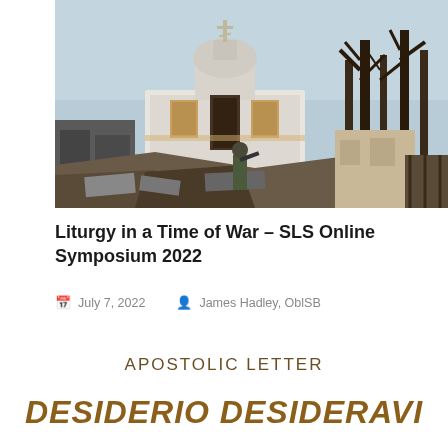[Figure (photo): Photograph of a damaged or war-affected Orthodox church building with a dome and cross, surrounded by bare trees and rubble. A soldier or figure is visible near the entrance.]
Liturgy in a Time of War – SLS Online Symposium 2022
July 7, 2022   James Hadley, OblSB
APOSTOLIC LETTER
DESIDERIO DESIDERAVI